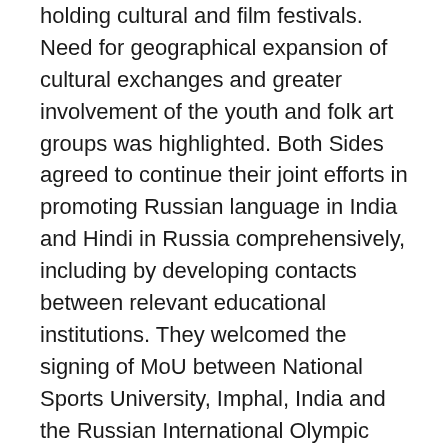holding cultural and film festivals. Need for geographical expansion of cultural exchanges and greater involvement of the youth and folk art groups was highlighted. Both Sides agreed to continue their joint efforts in promoting Russian language in India and Hindi in Russia comprehensively, including by developing contacts between relevant educational institutions. They welcomed the signing of MoU between National Sports University, Imphal, India and the Russian International Olympic University Sochi, Russia.
64. The two sides appreciated the dynamism in tourist exchanges between Russia and India.To further deepen the cooperation in tourism, the sides expressed intent to discuss ways of cooperation both at government and private sector level with the aim to enhance tourist exchanges between the two countries.